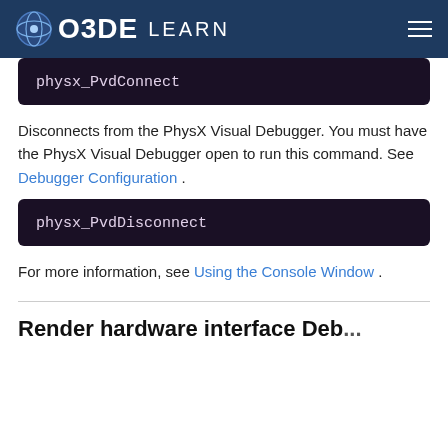O3DE LEARN
physx_PvdConnect
Disconnects from the PhysX Visual Debugger. You must have the PhysX Visual Debugger open to run this command. See Debugger Configuration .
physx_PvdDisconnect
For more information, see Using the Console Window .
Render hardware interface Deb...